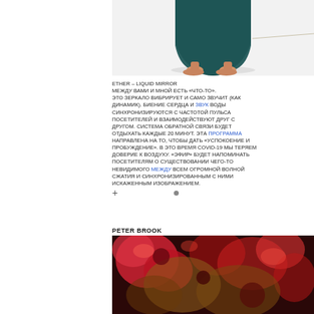[Figure (photo): Lower portion of a figure wearing a dark teal/green skirt and bare feet on a white surface]
ETHER – LIQUID MIRROR
МЕЖДУ ВАМИ И МНОЙ ЕСТЬ «ЧТО-ТО».
ЭТО ЗЕРКАЛО ВИБРИРУЕТ И САМО ЗВУЧИТ (КАК ДИНАМИК). БИЕНИЕ СЕРДЦА И ЗВУК ВОДЫ СИНХРОНИЗИРУЮТСЯ С ЧАСТОТОЙ ПУЛЬСА ПОСЕТИТЕЛЕЙ И ВЗАИМОДЕЙСТВУЮТ ДРУГ С ДРУГОМ. СИСТЕМА ОБРАТНОЙ СВЯЗИ БУДЕТ ОТДЫХАТЬ КАЖДЫЕ 20 МИНУТ. ЭТА ПРОГРАММА НАПРАВЛЕНА НА ТО, ЧТОБЫ ДАТЬ «УСПОКОЕНИЕ И ПРОБУЖДЕНИЕ». В ЭТО ВРЕМЯ COVID-19 МЫ ТЕРЯЕМ ДОВЕРИЕ К ВОЗДУХУ. «ЭФИР» БУДЕТ НАПОМИНАТЬ ПОСЕТИТЕЛЯМ О СУЩЕСТВОВАНИИ ЧЕГО-ТО НЕВИДИМОГО МЕЖДУ ВСЕМ ОГРОМНОЙ ВОЛНОЙ СЖАТИЯ И СИНХРОНИЗИРОВАННЫМ С НИМИ ИСКАЖЕННЫМ ИЗОБРАЖЕНИЕМ.
PETER BROOK
[Figure (photo): Close-up abstract image of red and dark brown/gold metallic textures, possibly flowers or organic material]